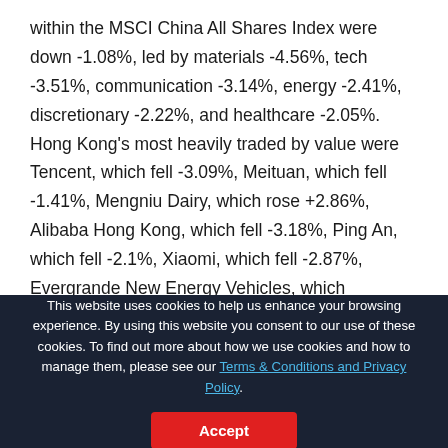within the MSCI China All Shares Index were down -1.08%, led by materials -4.56%, tech -3.51%, communication -3.14%, energy -2.41%, discretionary -2.22%, and healthcare -2.05%. Hong Kong's most heavily traded by value were Tencent, which fell -3.09%, Meituan, which fell -1.41%, Mengniu Dairy, which rose +2.86%, Alibaba Hong Kong, which fell -3.18%, Ping An, which fell -2.1%, Xiaomi, which fell -2.87%, Evergrande New Energy Vehicles, which
This website uses cookies to help us enhance your browsing experience. By using this website you consent to our use of these cookies. To find out more about how we use cookies and how to manage them, please see our Terms & Conditions and Privacy Policy.
Accept